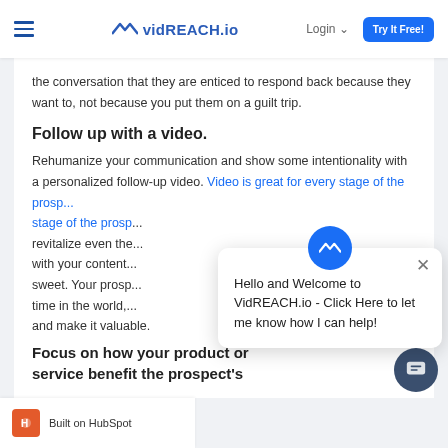vidREACH.io — Login — Try It Free!
the conversation that they are enticed to respond back because they want to, not because you put them on a guilt trip.
Follow up with a video.
Rehumanize your communication and show some intentionality with a personalized follow-up video. Video is great for every stage of the prospecting ... revitalize even the ... with your content ... sweet. Your prosp... time in the world, ... and make it valuable.
[Figure (screenshot): Chat widget popup saying 'Hello and Welcome to VidREACH.io - Click Here to let me know how I can help!']
Focus on how your product or service benefit the prospect's
Built on HubSpot